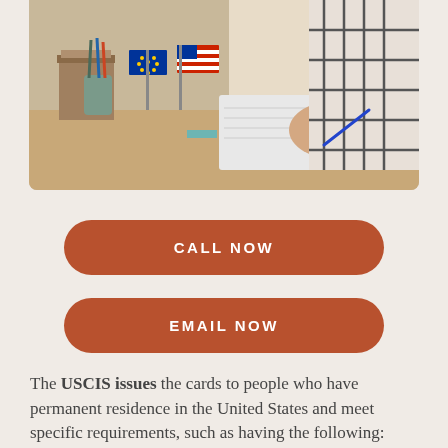[Figure (photo): Person writing at a desk with EU and US flags in the foreground, wearing a plaid shirt, notebook visible]
CALL NOW
EMAIL NOW
The USCIS issues the cards to people who have permanent residence in the United States and meet specific requirements, such as having the following: